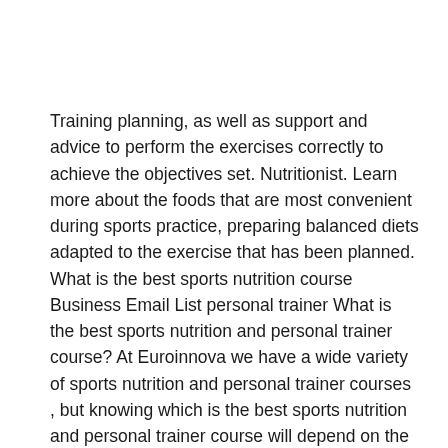Training planning, as well as support and advice to perform the exercises correctly to achieve the objectives set. Nutritionist. Learn more about the foods that are most convenient during sports practice, preparing balanced diets adapted to the exercise that has been planned. What is the best sports nutrition course Business Email List personal trainer What is the best sports nutrition and personal trainer course? At Euroinnova we have a wide variety of sports nutrition and personal trainer courses , but knowing which is the best sports nutrition and personal trainer course will depend on the needs and preferences of each person. But for all these courses, the great advantages they offer must be taken into account, such as the flexibility of Business Email List...